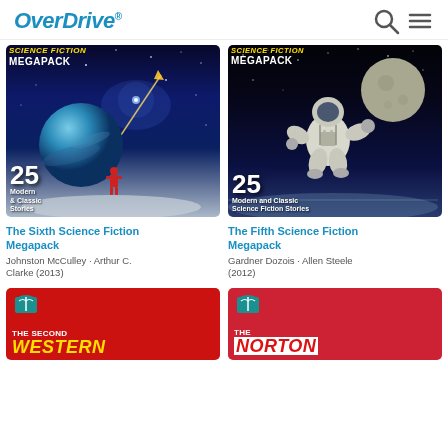OverDrive
[Figure (illustration): Book cover: The Sixth Science Fiction Megapack - 25 Modern & Classic Stories, space scene with planet and astronaut figure]
[Figure (illustration): Book cover: The Fifth Science Fiction Megapack - 25 Modern and Classic Science Fiction Stories, astronaut floating in space]
The Sixth Science Fiction Megapack
Johnston McCulley · Arthur C. Clarke (2013)
The Fifth Science Fiction Megapack
Gardner Dozois · Allen Steele (2012)
[Figure (illustration): Book cover: The Second Western (partial, cut off at bottom)]
[Figure (illustration): Book cover: The Norton (partial, cut off at bottom)]